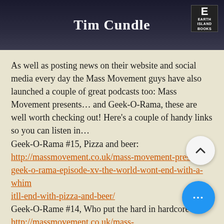Tim Cundle
[Figure (logo): Earth Island Books logo — letter E with 'EARTH ISLAND BOOKS' text]
As well as posting news on their website and social media every day the Mass Movement guys have also launched a couple of great podcasts too: Mass Movement presents… and Geek-O-Rama, these are well worth checking out! Here's a couple of handy links so you can listen in…
Geek-O-Rama #15, Pizza and beer:
http://massmovement.co.uk/mass-movement-presents-geek-o-rama-episode-xv-the-world-wont-end-with-a-whim
itll-end-with-pizza-and-beer/
Geek-O-Rame #14, Who put the hard in hardcore?:
http://massmovement.co.uk/mass-